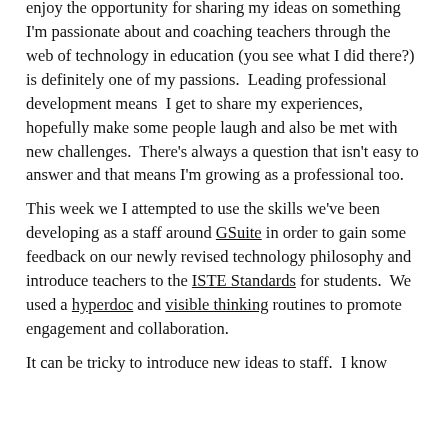enjoy the opportunity for sharing my ideas on something I'm passionate about and coaching teachers through the web of technology in education (you see what I did there?) is definitely one of my passions.  Leading professional development means  I get to share my experiences, hopefully make some people laugh and also be met with new challenges.  There's always a question that isn't easy to answer and that means I'm growing as a professional too.
This week we I attempted to use the skills we've been developing as a staff around GSuite in order to gain some feedback on our newly revised technology philosophy and introduce teachers to the ISTE Standards for students.  We used a hyperdoc and visible thinking routines to promote engagement and collaboration.
It can be tricky to introduce new ideas to staff.  I know